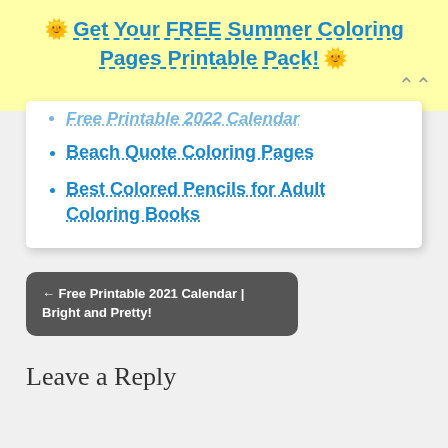🌞 Get Your FREE Summer Coloring Pages Printable Pack! 🌞
Free Printable 2022 Calendar
Beach Quote Coloring Pages
Best Colored Pencils for Adult Coloring Books
← Free Printable 2021 Calendar | Bright and Pretty!
Leave a Reply